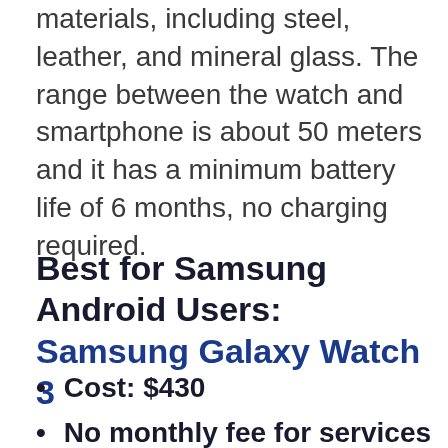materials, including steel, leather, and mineral glass. The range between the watch and smartphone is about 50 meters and it has a minimum battery life of 6 months, no charging required.
Best for Samsung Android Users: Samsung Galaxy Watch 3
Cost: $430
No monthly fee for services